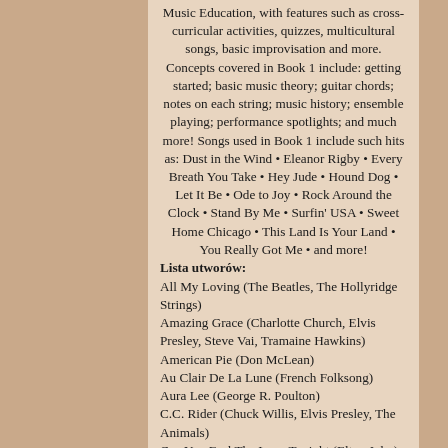Music Education, with features such as cross-curricular activities, quizzes, multicultural songs, basic improvisation and more. Concepts covered in Book 1 include: getting started; basic music theory; guitar chords; notes on each string; music history; ensemble playing; performance spotlights; and much more! Songs used in Book 1 include such hits as: Dust in the Wind • Eleanor Rigby • Every Breath You Take • Hey Jude • Hound Dog • Let It Be • Ode to Joy • Rock Around the Clock • Stand By Me • Surfin' USA • Sweet Home Chicago • This Land Is Your Land • You Really Got Me • and more!
Lista utworów:
All My Loving (The Beatles, The Hollyridge Strings)
Amazing Grace (Charlotte Church, Elvis Presley, Steve Vai, Tramaine Hawkins)
American Pie (Don McLean)
Au Clair De La Lune (French Folksong)
Aura Lee (George R. Poulton)
C.C. Rider (Chuck Willis, Elvis Presley, The Animals)
Can You Feel The Love Tonight (Elton John)
Corrina (Traditional)